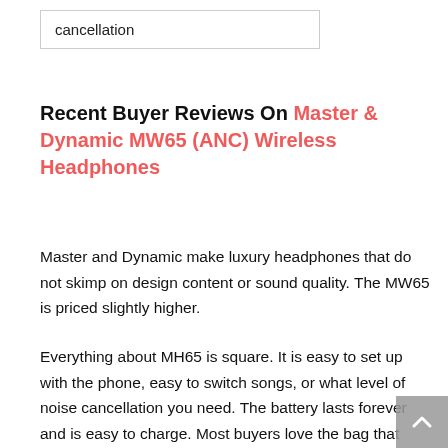cancellation
Recent Buyer Reviews On Master & Dynamic MW65 (ANC) Wireless Headphones
Master and Dynamic make luxury headphones that do not skimp on design content or sound quality. The MW65 is priced slightly higher.
Everything about MH65 is square. It is easy to set up with the phone, easy to switch songs, or what level of noise cancellation you need. The battery lasts forever and is easy to charge. Most buyers love the bag that comes with it, keeping all wires